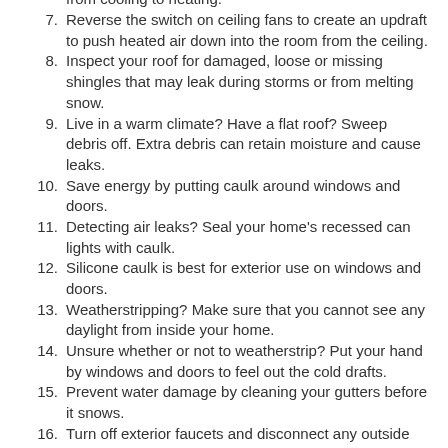reputable contractor that belongs to the ACCA.
Have a boiler? Change your filters when you switch from cooling to heating.
Reverse the switch on ceiling fans to create an updraft to push heated air down into the room from the ceiling.
Inspect your roof for damaged, loose or missing shingles that may leak during storms or from melting snow.
Live in a warm climate? Have a flat roof? Sweep debris off. Extra debris can retain moisture and cause leaks.
Save energy by putting caulk around windows and doors.
Detecting air leaks? Seal your home's recessed can lights with caulk.
Silicone caulk is best for exterior use on windows and doors.
Weatherstripping? Make sure that you cannot see any daylight from inside your home.
Unsure whether or not to weatherstrip? Put your hand by windows and doors to feel out the cold drafts.
Prevent water damage by cleaning your gutters before it snows.
Turn off exterior faucets and disconnect any outside houses.
To avoid freezing pipes and leaks, make sure that your sprinkler or irrigation system is fully drained.